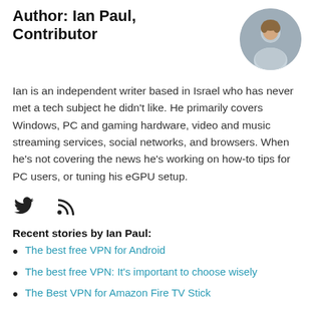Author: Ian Paul, Contributor
[Figure (photo): Circular headshot photo of Ian Paul]
Ian is an independent writer based in Israel who has never met a tech subject he didn't like. He primarily covers Windows, PC and gaming hardware, video and music streaming services, social networks, and browsers. When he's not covering the news he's working on how-to tips for PC users, or tuning his eGPU setup.
[Figure (other): Social media icons: Twitter bird icon and RSS feed icon]
Recent stories by Ian Paul:
The best free VPN for Android
The best free VPN: It's important to choose wisely
The Best VPN for Amazon Fire TV Stick